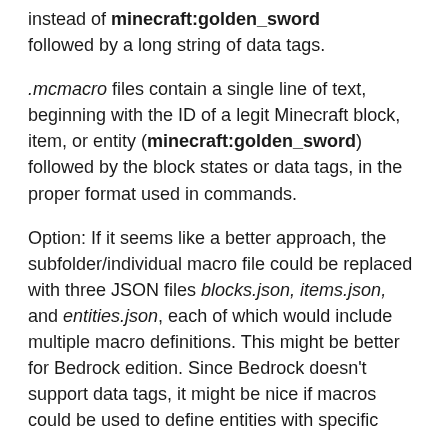instead of minecraft:golden_sword followed by a long string of data tags.
.mcmacro files contain a single line of text, beginning with the ID of a legit Minecraft block, item, or entity (minecraft:golden_sword) followed by the block states or data tags, in the proper format used in commands.
Option: If it seems like a better approach, the subfolder/individual macro file could be replaced with three JSON files blocks.json, items.json, and entities.json, each of which would include multiple macro definitions. This might be better for Bedrock edition. Since Bedrock doesn't support data tags, it might be nice if macros could be used to define entities with specific